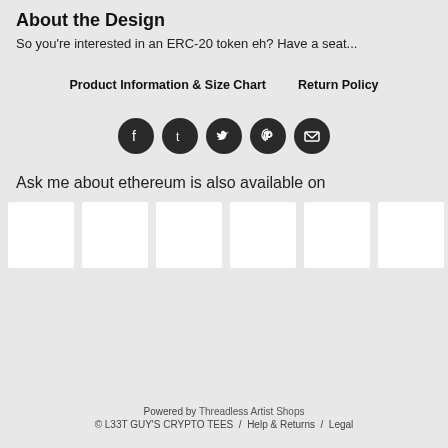About the Design
So you're interested in an ERC-20 token eh? Have a seat...
Product Information & Size Chart    Return Policy
[Figure (infographic): Five circular dark social media icon buttons in a row: Facebook, Tumblr, Twitter, Pinterest, Email]
Ask me about ethereum is also available on
[Figure (other): Six white rectangular thumbnail placeholder boxes in a row]
Powered by Threadless Artist Shops
© L33T GUY'S CRYPTO TEES  /  Help & Returns  /  Legal